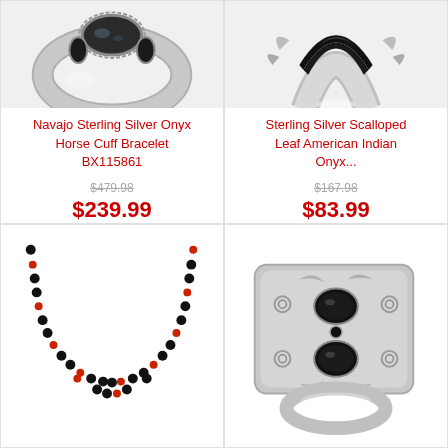[Figure (photo): Navajo Sterling Silver Onyx Horse Cuff Bracelet - top cropped photo showing silver bracelet with onyx stones]
Navajo Sterling Silver Onyx Horse Cuff Bracelet BX115861
$479.98
$239.99
[Figure (photo): Sterling Silver Scalloped Leaf American Indian Onyx ring - close up photo with leaf details]
Sterling Silver Scalloped Leaf American Indian Onyx...
$167.98
$83.99
[Figure (photo): Black onyx and red coral bead necklace - U-shaped strand on white background]
[Figure (photo): Sterling silver cuff bracelet with black onyx stones and floral filigree design]